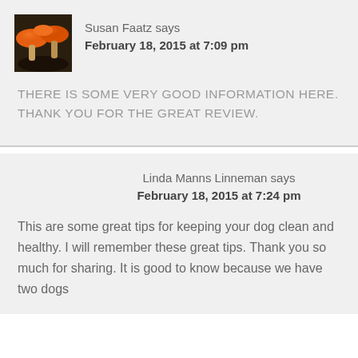Susan Faatz says
February 18, 2015 at 7:09 pm
[Figure (photo): Avatar image showing orange mushrooms on a dark background]
THERE IS SOME VERY GOOD INFORMATION HERE. THANK YOU FOR THE GREAT REVIEW.
Linda Manns Linneman says
February 18, 2015 at 7:24 pm
This are some great tips for keeping your dog clean and healthy. I will remember these great tips. Thank you so much for sharing. It is good to know because we have two dogs